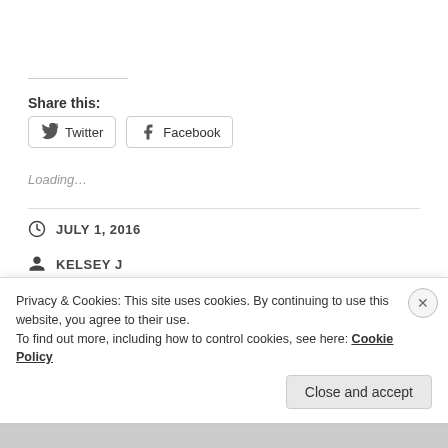Share this:
Twitter   Facebook
Loading…
JULY 1, 2016
KELSEY J
LOCAL EATERIES
Privacy & Cookies: This site uses cookies. By continuing to use this website, you agree to their use.
To find out more, including how to control cookies, see here: Cookie Policy
Close and accept